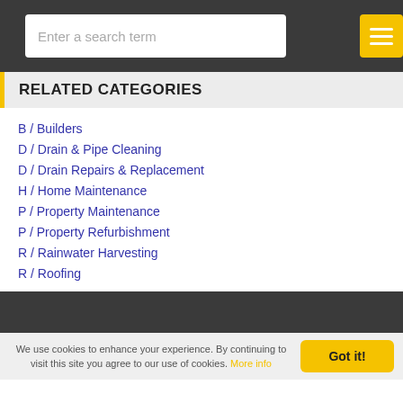Enter a search term
RELATED CATEGORIES
B / Builders
D / Drain & Pipe Cleaning
D / Drain Repairs & Replacement
H / Home Maintenance
P / Property Maintenance
P / Property Refurbishment
R / Rainwater Harvesting
R / Roofing
We use cookies to enhance your experience. By continuing to visit this site you agree to our use of cookies. More info